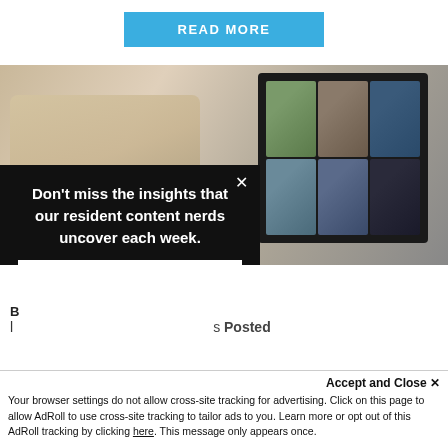[Figure (other): Blue 'READ MORE' button centered at top of page]
[Figure (photo): Photo of a person with blonde hair gesturing with their hand near a laptop showing a video conference grid with multiple participants]
Don't miss the insights that our resident content nerds uncover each week.
Enter your email here...
s Posted
Accept and Close ✕
Your browser settings do not allow cross-site tracking for advertising. Click on this page to allow AdRoll to use cross-site tracking to tailor ads to you. Learn more or opt out of this AdRoll tracking by clicking here. This message only appears once.